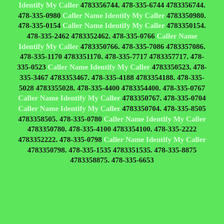Identify My Caller 4783356744. 478-335-6744 4783356744. 478-335-0980 Caller Name Identify My Caller 4783350980. 478-335-0154 Caller Name Identify My Caller 4783350154. 478-335-2462 4783352462. 478-335-0766 Caller Name Identify My Caller 4783350766. 478-335-7086 4783357086. 478-335-1170 4783351170. 478-335-7717 4783357717. 478-335-0523 Caller Name Identify My Caller 4783350523. 478-335-3467 4783353467. 478-335-4188 4783354188. 478-335-5028 4783355028. 478-335-4400 4783354400. 478-335-0767 Caller Name Identify My Caller 4783350767. 478-335-0704 Caller Name Identify My Caller 4783350704. 478-335-8505 4783358505. 478-335-0780 Caller Name Identify My Caller 4783350780. 478-335-4100 4783354100. 478-335-2222 4783352222. 478-335-0798 Caller Name Identify My Caller 4783350798. 478-335-1535 4783351535. 478-335-8875 4783358875. 478-335-6653